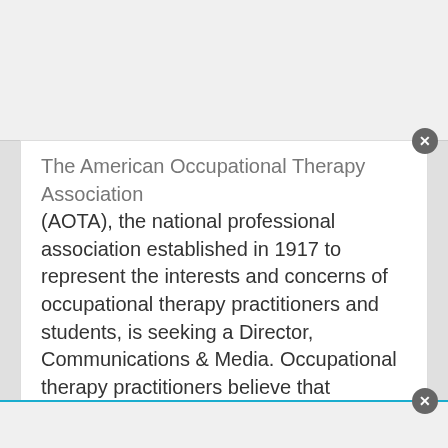...The American Occupational Therapy Association (AOTA), the national professional association established in 1917 to represent the interests and concerns of occupational therapy practitioners and students, is seeking a Director, Communications & Media. Occupational therapy practitioners believe that everyone deserves to maximize their potential and participate in everyday living. AOTA advances occupational therapy practice, education, and research through standard setting and advocacy on behalf of ... more
Pandalogic - 21 days ago
Manager of Marketing and Communications